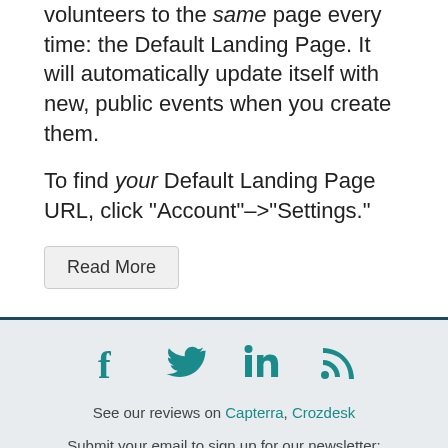volunteers to the same page every time: the Default Landing Page. It will automatically update itself with new, public events when you create them.
To find your Default Landing Page URL, click “Account”–>“Settings.”
Read More
[Figure (other): Footer section with social media icons (Facebook, Twitter, LinkedIn, RSS), review links, and newsletter signup input field]
See our reviews on Capterra, Crozdesk
Submit your email to sign up for our newsletter: